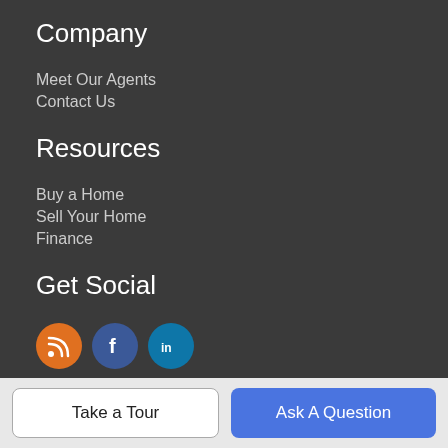Company
Meet Our Agents
Contact Us
Resources
Buy a Home
Sell Your Home
Finance
Get Social
[Figure (illustration): Three social media icons: RSS (orange), Facebook (dark blue), LinkedIn (light blue)]
About Us
"For All You Need To Know About Real Estate"
Take a Tour | Ask A Question